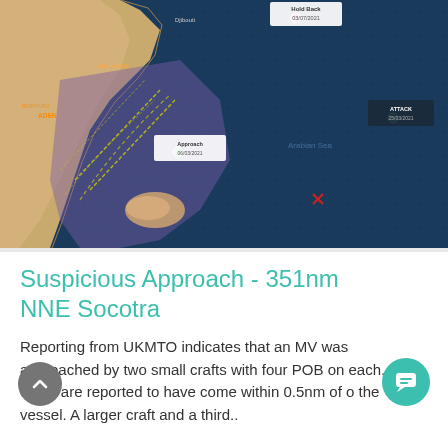[Figure (map): Maritime navigation map showing the Arabian Sea region near Somalia/Socotra area. Shows coastline, sea areas with blue tones, and markers for events: 'Hold Back 03/07/2021' (pink marker, top center), 'ATTACK 25/03/2021' (green marker, far right), 'Approach 06/03/2021' (green marker, center-left). Purple/shaded region over coastal area. Yellow track lines visible. Red cross marker visible in center-right sea area.]
Suspicious Approach - 351nm NNE Socotra
Reporting from UKMTO indicates that an MV was approached by two small crafts with four POB on each. The crafts are reported to have come within 0.5nm of o the vessel. A larger craft and a third..